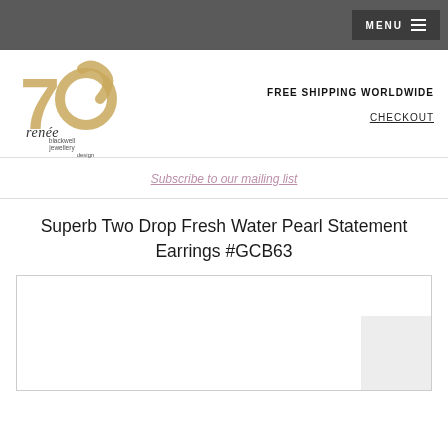MENU
[Figure (logo): Renee Blackwell Jewellery Design logo — gold/tan stylized '70' with cursive 'renée' text and subtitle 'blackwell jewellery design']
FREE SHIPPING WORLDWIDE
CHECKOUT
Subscribe to our mailing list
Superb Two Drop Fresh Water Pearl Statement Earrings #GCB63
[Figure (photo): Product photo area — white box with light border, mostly blank/white, with a light grey overlay box in the bottom right corner]